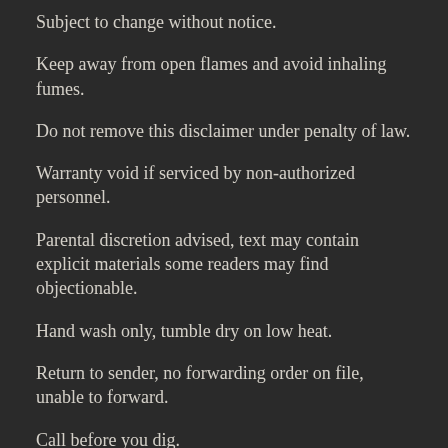Subject to change without notice.
Keep away from open flames and avoid inhaling fumes.
Do not remove this disclaimer under penalty of law.
Warranty void if serviced by non-authorized personnel.
Parental discretion advised, text may contain explicit materials some readers may find objectionable.
Hand wash only, tumble dry on low heat.
Return to sender, no forwarding order on file, unable to forward.
Call before you dig.